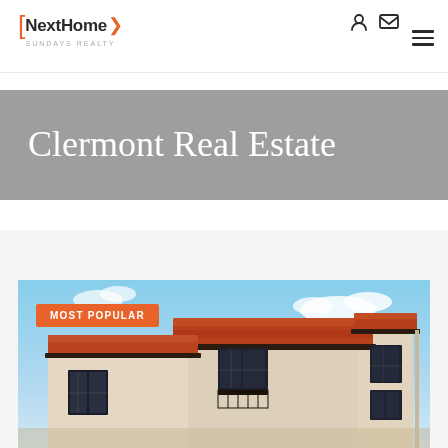[Figure (logo): NextHome Sundays Realty logo with orange brackets and arrow]
[Figure (screenshot): Navigation icons: login and envelope/mail icons in top right]
Clermont Real Estate
[Figure (photo): Exterior photo of a Mediterranean-style two-story home with terracotta tile roof, stucco walls, and dark-trimmed windows under a blue sky with clouds. Badge overlay reads MOST POPULAR.]